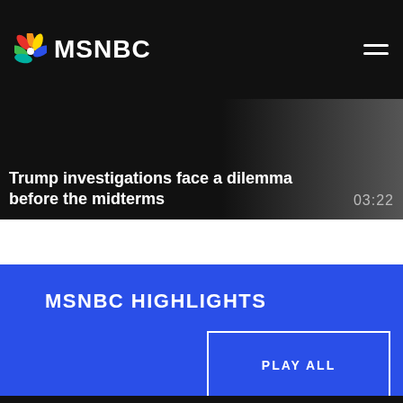MSNBC
Trump investigations face a dilemma before the midterms
03:22
MSNBC HIGHLIGHTS
PLAY ALL
[Figure (photo): Partial dark photo visible at bottom of page, appears to show a person]